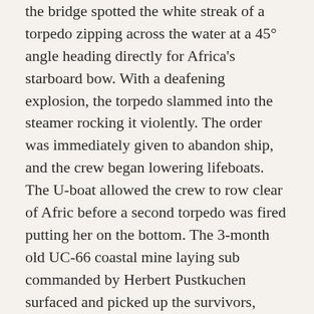the bridge spotted the white streak of a torpedo zipping across the water at a 45° angle heading directly for Africa's starboard bow. With a deafening explosion, the torpedo slammed into the steamer rocking it violently. The order was immediately given to abandon ship, and the crew began lowering lifeboats. The U-boat allowed the crew to row clear of Afric before a second torpedo was fired putting her on the bottom. The 3-month old UC-66 coastal mine laying sub commanded by Herbert Pustkuchen surfaced and picked up the survivors, including the Afric's captain for questioning.
Discovered and positively identified in 1987, the wreck of the 550 ft long Afric lies in about 130 feet of water, 15.5 nautical miles south-east of